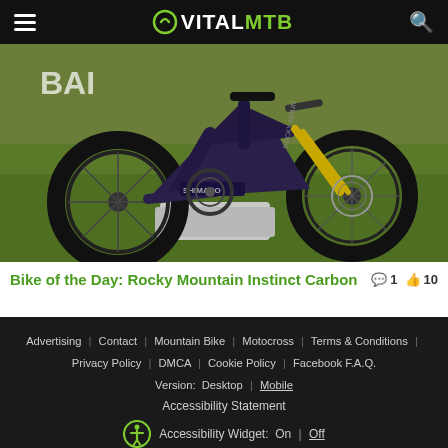VITALMTB
[Figure (photo): Mountain bike photo: Rocky Mountain Instinct Carbon full-suspension mountain bike in dark purple/carbon color, displayed on grass with a concrete block support. Shimano drivetrain visible. Gold fork. Rocky Mountain branding on frame.]
Bike of the Day: Rocky Mountain Instinct Carbon  💬1  👍10
Advertising | Contact | Mountain Bike | Motocross | Terms & Conditions | Privacy Policy | DMCA | Cookie Policy | Facebook F.A.Q. Version: Desktop | Mobile Accessibility Statement Accessibility Widget: On | Off © 2022 Vital Media Network, Inc.